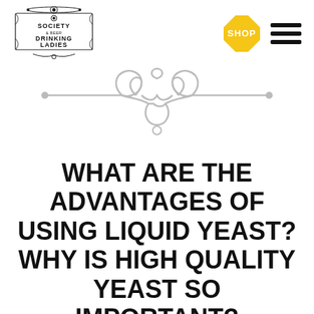[Figure (logo): Society of Beer Drinking Ladies ornate logo with decorative border and text]
[Figure (logo): Golden hexagonal SHOP badge]
[Figure (other): Hamburger menu icon (three horizontal lines)]
[Figure (illustration): Decorative gray ornamental flourish divider with swirling loops and teardrop shape]
WHAT ARE THE ADVANTAGES OF USING LIQUID YEAST? WHY IS HIGH QUALITY YEAST SO IMPORTANT?